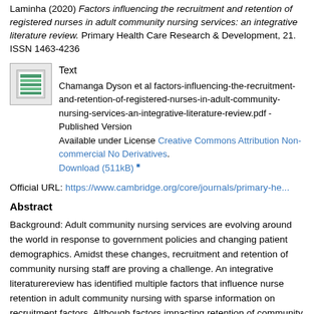Laminha (2020) Factors influencing the recruitment and retention of registered nurses in adult community nursing services: an integrative literature review. Primary Health Care Research & Development, 21. ISSN 1463-4236
[Figure (other): Small document thumbnail icon showing a green spreadsheet/table graphic]
Text
Chamanga Dyson et al factors-influencing-the-recruitment-and-retention-of-registered-nurses-in-adult-community-nursing-services-an-integrative-literature-review.pdf - Published Version
Available under License Creative Commons Attribution Non-commercial No Derivatives.
Download (511kB)
Official URL: https://www.cambridge.org/core/journals/primary-he...
Abstract
Background: Adult community nursing services are evolving around the world in response to government policies and changing patient demographics. Amidst these changes, recruitment and retention of community nursing staff are proving a challenge. An integrative literaturereview has identified multiple factors that influence nurse retention in adult community nursing with sparse information on recruitment factors. Although factors impacting retention of community nurses have been identified, their generalisability around the